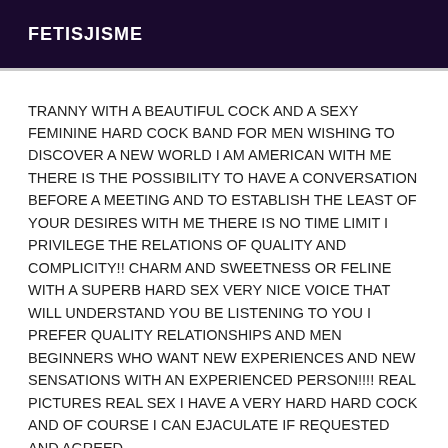FETISJISME
TRANNY WITH A BEAUTIFUL COCK AND A SEXY FEMININE HARD COCK BAND FOR MEN WISHING TO DISCOVER A NEW WORLD I AM AMERICAN WITH ME THERE IS THE POSSIBILITY TO HAVE A CONVERSATION BEFORE A MEETING AND TO ESTABLISH THE LEAST OF YOUR DESIRES WITH ME THERE IS NO TIME LIMIT I PRIVILEGE THE RELATIONS OF QUALITY AND COMPLICITY!! CHARM AND SWEETNESS OR FELINE WITH A SUPERB HARD SEX VERY NICE VOICE THAT WILL UNDERSTAND YOU BE LISTENING TO YOU I PREFER QUALITY RELATIONSHIPS AND MEN BEGINNERS WHO WANT NEW EXPERIENCES AND NEW SENSATIONS WITH AN EXPERIENCED PERSON!!!! REAL PICTURES REAL SEX I HAVE A VERY HARD HARD COCK AND OF COURSE I CAN EJACULATE IF REQUESTED AND AGREED